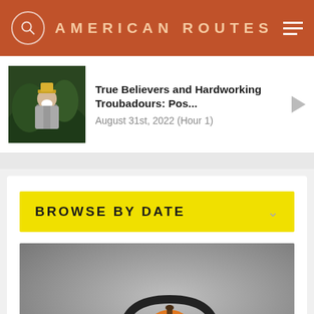AMERICAN ROUTES
True Believers and Hardworking Troubadours: Pos...
August 31st, 2022 (Hour 1)
BROWSE BY DATE
[Figure (photo): A Halloween pumpkin jack-o-lantern wearing black headphones, photographed against a grey background]